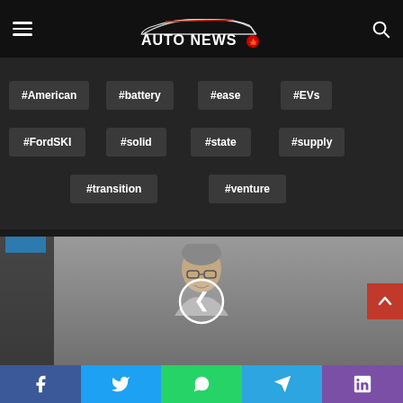AUTO NEWS
#American
#battery
#ease
#EVs
#FordSKI
#solid
#state
#supply
#transition
#venture
[Figure (photo): A man with grey hair and glasses shown from the shoulders up, with a circular back/previous navigation arrow overlay. A small blue banner overlay is in the top-left corner. A red scroll-up button is on the right side.]
Facebook | Twitter | WhatsApp | Telegram | Viber